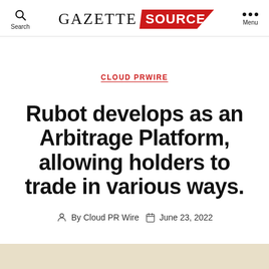GAZETTE SOURCE — Search | Menu
CLOUD PRWIRE
Rubot develops as an Arbitrage Platform, allowing holders to trade in various ways.
By Cloud PR Wire  June 23, 2022